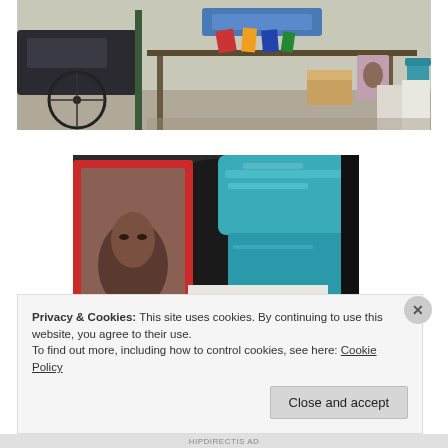[Figure (photo): Outdoor street market or flea market scene with bicycles, tables laden with books and goods, cardboard boxes, and various items including a portrait painting, shot in daylight.]
[Figure (photo): Close-up of street market items including a framed portrait in a red frame, a teal/blue plastic storage bin with lid, and cardboard boxes with items.]
Privacy & Cookies: This site uses cookies. By continuing to use this website, you agree to their use.
To find out more, including how to control cookies, see here: Cookie Policy
HIPDIRECTIS AD